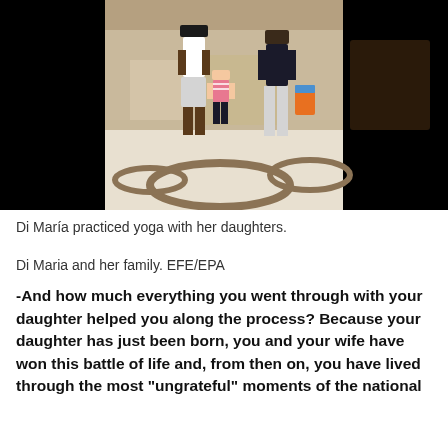[Figure (photo): A man in white standing with two girls on a patterned rug in a living room, surrounded by black borders. The family appears to be doing yoga.]
Di María practiced yoga with her daughters.
Di Maria and her family. EFE/EPA
-And how much everything you went through with your daughter helped you along the process? Because your daughter has just been born, you and your wife have won this battle of life and, from then on, you have lived through the most "ungrateful" moments of the national